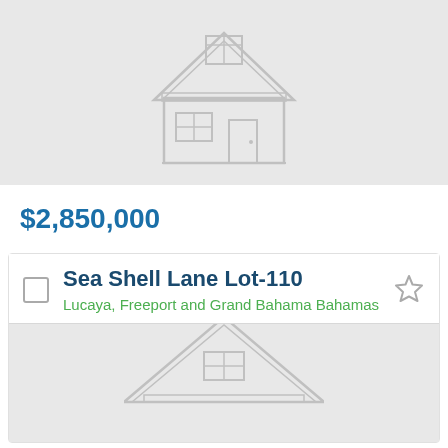[Figure (illustration): Placeholder house icon on light grey background, showing a two-story house outline with roof, windows, and door]
$2,850,000
Sea Shell Lane Lot-110
Lucaya, Freeport and Grand Bahama Bahamas
[Figure (illustration): Partial placeholder house icon on light grey background, showing a house roofline and partial structure]